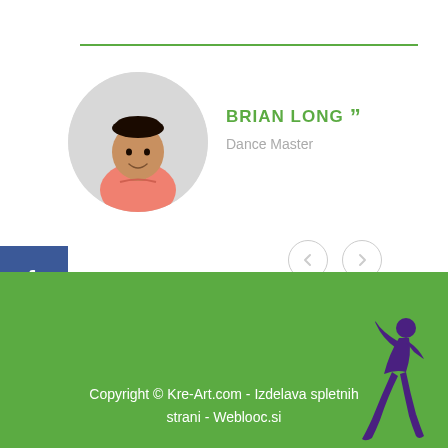[Figure (photo): Circular profile photo of a young man smiling, wearing a pink/red polo shirt, with dark hair, on a white background]
BRIAN LONG » Dance Master
[Figure (illustration): Two circular navigation arrow buttons (left and right chevrons) with light grey outlines]
[Figure (logo): Facebook logo icon (white 'f' on blue background)]
[Figure (logo): YouTube logo icon (white 'You Tube' text on red background)]
[Figure (logo): Instagram logo icon (white camera icon on gradient background)]
Copyright © Kre-Art.com - Izdelava spletnih strani - Weblooc.si
[Figure (illustration): Silhouette of a dancing person in purple/dark color on green background]